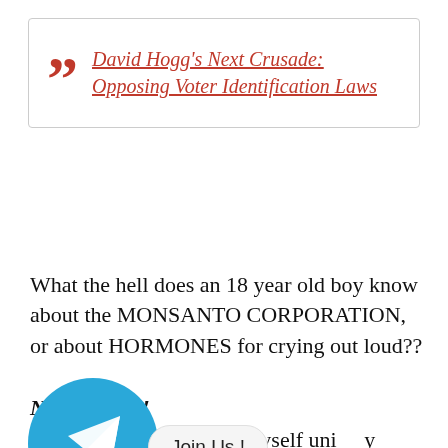David Hogg's Next Crusade: Opposing Voter Identification Laws
What the hell does an 18 year old boy know about the MONSANTO CORPORATION, or about HORMONES for crying out loud??
NOTHING!!
Having grown up on a dairy farm, I myself unfortunately spent a lot of years around Monsanto Chemicals.... and I can tell you from first hand
[Figure (logo): Telegram app icon: blue circle with white paper plane arrow]
Join Us !